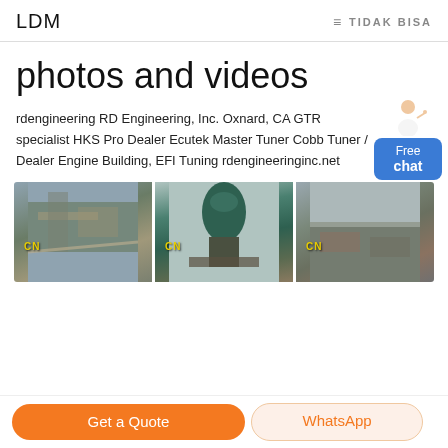LDM  ≡ TIDAK BISA
photos and videos
rdengineering RD Engineering, Inc. Oxnard, CA GTR specialist HKS Pro Dealer Ecutek Master Tuner Cobb Tuner / Dealer Engine Building, EFI Tuning rdengineeringinc.net
[Figure (photo): Three side-by-side photos of industrial mining/crushing equipment and quarry sites, each with a 'CN' watermark label.]
Get a Quote   WhatsApp